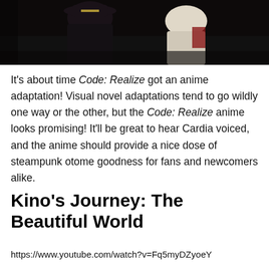[Figure (photo): Anime screenshot showing two characters in dark clothing, one wearing a military-style hat]
It's about time Code: Realize got an anime adaptation! Visual novel adaptations tend to go wildly one way or the other, but the Code: Realize anime looks promising! It'll be great to hear Cardia voiced, and the anime should provide a nice dose of steampunk otome goodness for fans and newcomers alike.
Kino's Journey: The Beautiful World
https://www.youtube.com/watch?v=Fq5myDZyoeY